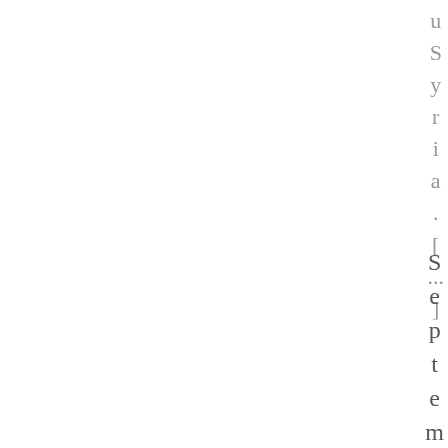Syria. [...] September 14th, 2
September 14th, 2